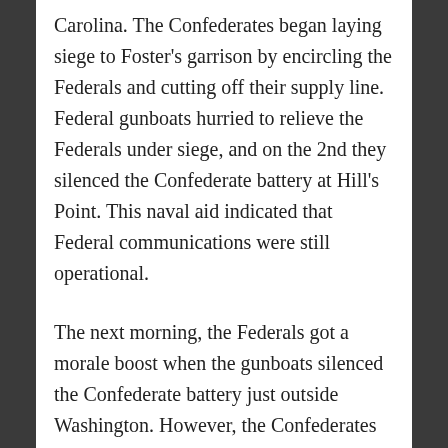Carolina. The Confederates began laying siege to Foster's garrison by encircling the Federals and cutting off their supply line. Federal gunboats hurried to relieve the Federals under siege, and on the 2nd they silenced the Confederate battery at Hill's Point. This naval aid indicated that Federal communications were still operational.
The next morning, the Federals got a morale boost when the gunboats silenced the Confederate battery just outside Washington. However, the Confederates met Federal relief forces under Brigadier General Francis B. Spinola at Blount's Creek and sent them running. This was the second failed attempt to relieve the garrison over the last 10 days. Foster resolved to